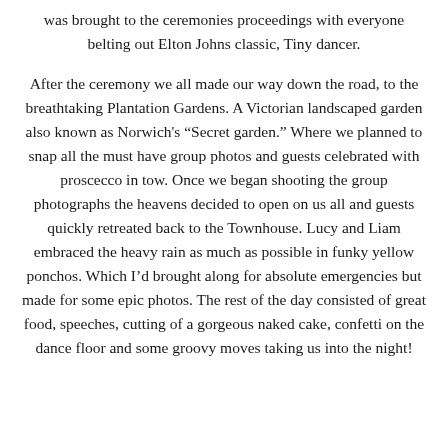was brought to the ceremonies proceedings with everyone belting out Elton Johns classic, Tiny dancer.
After the ceremony we all made our way down the road, to the breathtaking Plantation Gardens. A Victorian landscaped garden also known as Norwich's “Secret garden.” Where we planned to snap all the must have group photos and guests celebrated with proscecco in tow. Once we began shooting the group photographs the heavens decided to open on us all and guests quickly retreated back to the Townhouse. Lucy and Liam embraced the heavy rain as much as possible in funky yellow ponchos. Which I’d brought along for absolute emergencies but made for some epic photos. The rest of the day consisted of great food, speeches, cutting of a gorgeous naked cake, confetti on the dance floor and some groovy moves taking us into the night!